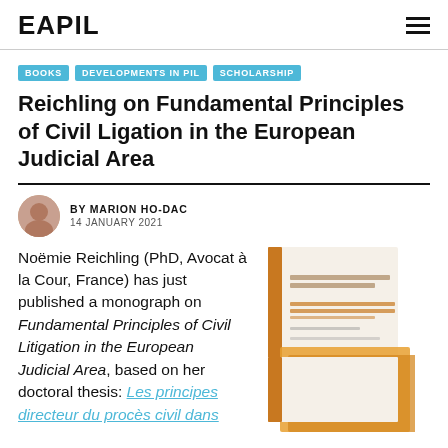EAPIL
BOOKS
DEVELOPMENTS IN PIL
SCHOLARSHIP
Reichling on Fundamental Principles of Civil Ligation in the European Judicial Area
BY MARION HO-DAC
14 JANUARY 2021
Noëmie Reichling (PhD, Avocat à la Cour, France) has just published a monograph on Fundamental Principles of Civil Litigation in the European Judicial Area, based on her doctoral thesis: Les principes directeur du procès civil dans
[Figure (photo): Book cover image of the monograph on Fundamental Principles of Civil Litigation in the European Judicial Area, showing orange and tan book covers stacked.]